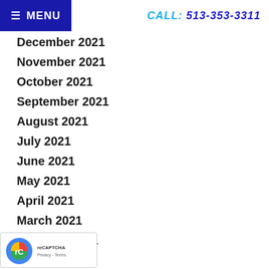≡ MENU   CALL: 513-353-3311
December 2021
November 2021
October 2021
September 2021
August 2021
July 2021
June 2021
May 2021
April 2021
March 2021
February 2021
January 2021